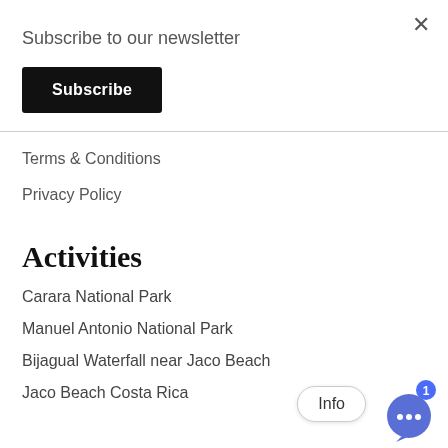×
Subscribe to our newsletter
Subscribe
Terms & Conditions
Privacy Policy
Activities
Carara National Park
Manuel Antonio National Park
Bijagual Waterfall near Jaco Beach
Jaco Beach Costa Rica
Info